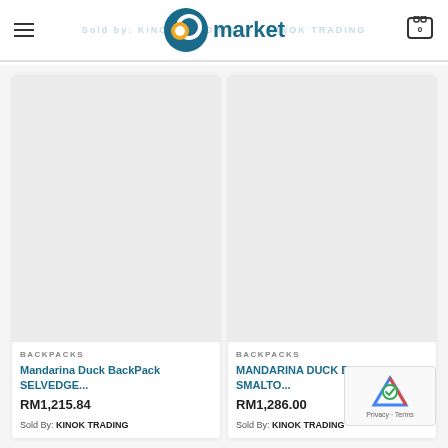PC market
Sold By: KINOK TRADING
[Figure (photo): Product image placeholder grey box for Mandarina Duck BackPack SELVEDGE]
BACKPACKS
Mandarina Duck BackPack SELVEDGE...
RM1,215.84
Sold By: KINOK TRADING
[Figure (photo): Product image placeholder grey box for MANDARINA DUCK BACKPACK SMALTO]
BACKPACKS
MANDARINA DUCK BACKPACK SMALTO...
RM1,286.00
Sold By: KINOK TRADING